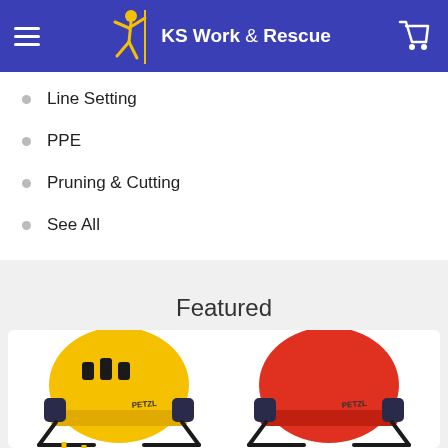KS Work & Rescue
Line Setting
PPE
Pruning & Cutting
See All
Featured
[Figure (photo): Two Petzl helmets side by side — a yellow one on the left and a red one on the right, both with black accents and chin straps, shown against a white background inside a product card.]